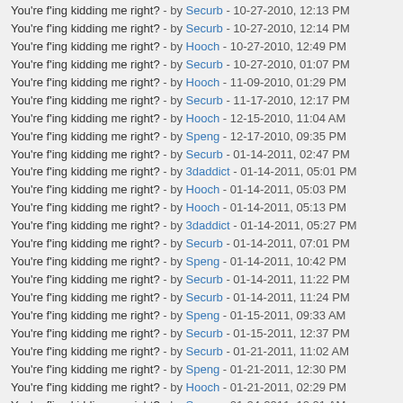You're f'ing kidding me right? - by Securb - 10-27-2010, 12:13 PM
You're f'ing kidding me right? - by Securb - 10-27-2010, 12:14 PM
You're f'ing kidding me right? - by Hooch - 10-27-2010, 12:49 PM
You're f'ing kidding me right? - by Securb - 10-27-2010, 01:07 PM
You're f'ing kidding me right? - by Hooch - 11-09-2010, 01:29 PM
You're f'ing kidding me right? - by Securb - 11-17-2010, 12:17 PM
You're f'ing kidding me right? - by Hooch - 12-15-2010, 11:04 AM
You're f'ing kidding me right? - by Speng - 12-17-2010, 09:35 PM
You're f'ing kidding me right? - by Securb - 01-14-2011, 02:47 PM
You're f'ing kidding me right? - by 3daddict - 01-14-2011, 05:01 PM
You're f'ing kidding me right? - by Hooch - 01-14-2011, 05:03 PM
You're f'ing kidding me right? - by Hooch - 01-14-2011, 05:13 PM
You're f'ing kidding me right? - by 3daddict - 01-14-2011, 05:27 PM
You're f'ing kidding me right? - by Securb - 01-14-2011, 07:01 PM
You're f'ing kidding me right? - by Speng - 01-14-2011, 10:42 PM
You're f'ing kidding me right? - by Securb - 01-14-2011, 11:22 PM
You're f'ing kidding me right? - by Securb - 01-14-2011, 11:24 PM
You're f'ing kidding me right? - by Speng - 01-15-2011, 09:33 AM
You're f'ing kidding me right? - by Securb - 01-15-2011, 12:37 PM
You're f'ing kidding me right? - by Securb - 01-21-2011, 11:02 AM
You're f'ing kidding me right? - by Speng - 01-21-2011, 12:30 PM
You're f'ing kidding me right? - by Hooch - 01-21-2011, 02:29 PM
You're f'ing kidding me right? - by Speng - 01-24-2011, 10:01 AM
You're f'ing kidding me right? - by Securb - 02-15-2011, 01:02 PM
You're f'ing kidding me right? - by Securb - 02-20-2011, 08:19 AM